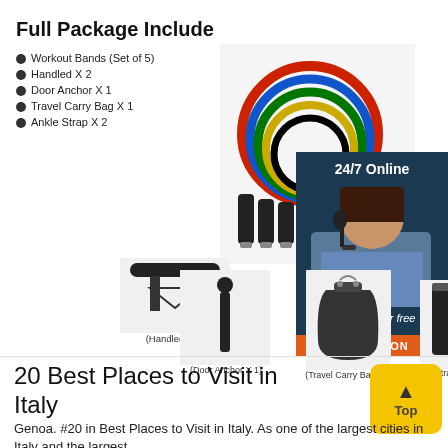Full Package Include
Workout Bands (Set of 5)
Handled X 2
Door Anchor X 1
Travel Carry Bag X 1
Ankle Strap X 2
[Figure (photo): Resistance bands set with colorful loops (red, blue, yellow, green) and black handles]
(Handled X 2)
[Figure (photo): 24/7 Online support banner with smiling female customer service representative wearing headset]
Click here for free chat !
QUOTATION
(Door Anchor X 1)
(Travel Carry Bag X 1)
(Ankle Strap X 2)
20 Best Places to Visit in Italy
Genoa. #20 in Best Places to Visit in Italy. As one of the largest cities in Italy and the largest